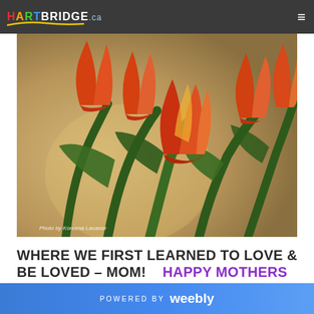HARTBRIDGE.ca
[Figure (photo): Close-up photograph of orange and yellow tulips with green stems and leaves against a soft blurred background. Caption reads: Photo by Koreena Lacasse]
WHERE WE FIRST LEARNED TO LOVE & BE LOVED – MOM!   HAPPY MOTHERS DAY
POWERED BY weebly